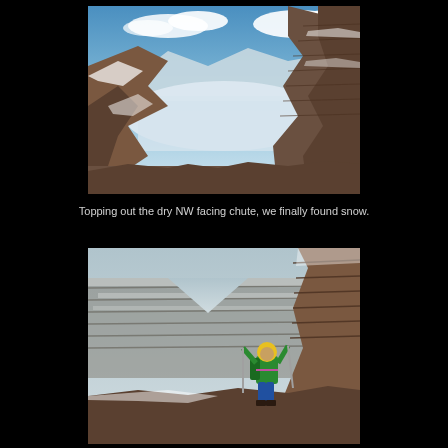[Figure (photo): Aerial/high vantage point view of a snow-covered mountain canyon with red rock walls and a wide snowy valley below under a blue sky with white clouds.]
Topping out the dry NW facing chute, we finally found snow.
[Figure (photo): A mountaineer in a green jacket, yellow helmet, and blue pants holding ski poles, standing against red rock cliffs with snow-covered layered rock formations in the background.]